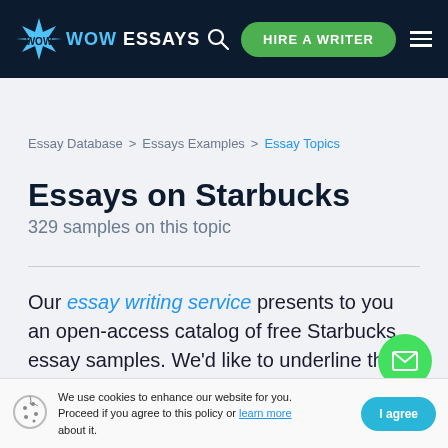[Figure (logo): WowEssays logo with starburst icon in blue and white text on dark navy header, with search icon, green HIRE A WRITER button, and hamburger menu]
Essay Database > Essays Examples > Essay Topics
Essays on Starbucks
329 samples on this topic
Our essay writing service presents to you an open-access catalog of free Starbucks essay samples. We'd like to underline that the showcased papers were crafted by compe
We use cookies to enhance our website for you. Proceed if you agree to this policy or learn more about it.